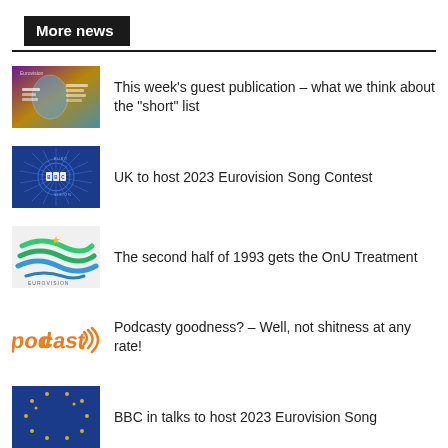More news
This week's guest publication – what we think about the “short” list
UK to host 2023 Eurovision Song Contest
The second half of 1993 gets the OnU Treatment
Podcasty goodness? – Well, not shitness at any rate!
BBC in talks to host 2023 Eurovision Song